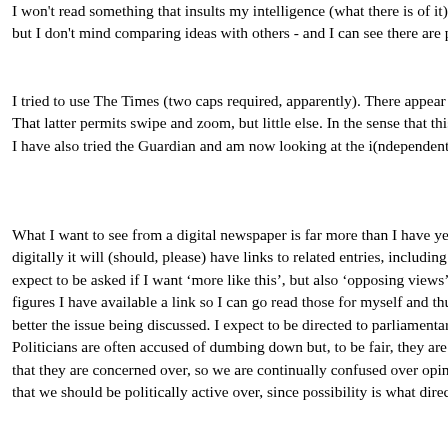I won't read something that insults my intelligence (what there is of it), but I don't mind comparing ideas with others - and I can see there are p
I tried to use The Times (two caps required, apparently). There appear t That latter permits swipe and zoom, but little else. In the sense that this I have also tried the Guardian and am now looking at the i(ndependent)
What I want to see from a digital newspaper is far more than I have yet digitally it will (should, please) have links to related entries, including t expect to be asked if I want ‘more like this’, but also ‘opposing views’, figures I have available a link so I can go read those for myself and thus better the issue being discussed. I expect to be directed to parliamentary Politicians are often accused of dumbing down but, to be fair, they are r that they are concerned over, so we are continually confused over opini that we should be politically active over, since possibility is what direct